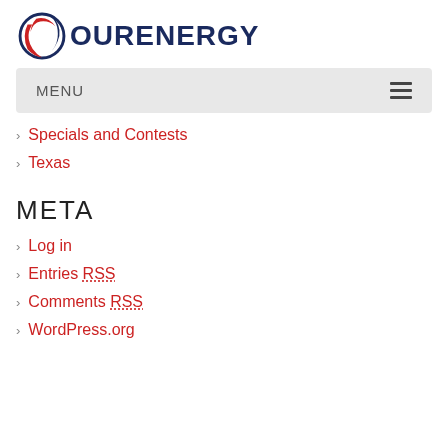[Figure (logo): OurEnergy logo with globe/swoosh icon and text OURENERGY]
MENU
Specials and Contests
Texas
META
Log in
Entries RSS
Comments RSS
WordPress.org